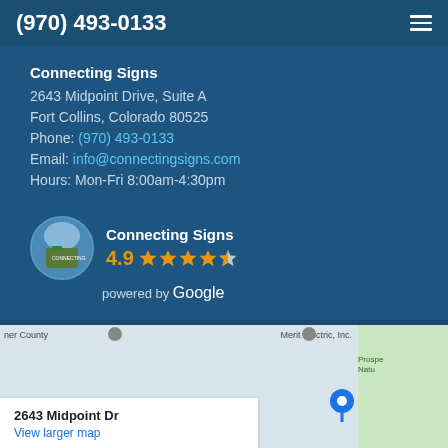(970) 493-0133
Connecting Signs
2643 Midpoint Drive, Suite A
Fort Collins, Colorado 80525
Phone: (970) 493-0133
Email: info@connectingsigns.com
Hours: Mon-Fri 8:00am-4:30pm
[Figure (infographic): Google reviews widget showing Connecting Signs logo, rating of 4.9 stars (4 full stars and 1 half star), and 'powered by Google' text]
[Figure (map): Google Maps screenshot showing 2643 Midpoint Dr with an info box displaying the address and a 'View larger map' link, with Prospect Nature area visible]